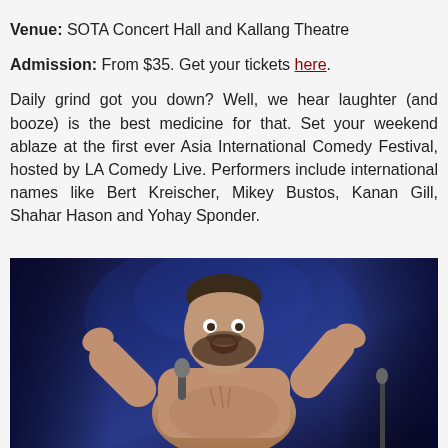Venue: SOTA Concert Hall and Kallang Theatre
Admission: From $35. Get your tickets here.
Daily grind got you down? Well, we hear laughter (and booze) is the best medicine for that. Set your weekend ablaze at the first ever Asia International Comedy Festival, hosted by LA Comedy Live. Performers include international names like Bert Kreischer, Mikey Bustos, Kanan Gill, Shahar Hason and Yohay Sponder.
[Figure (photo): A shirtless male comedian performing on stage, gesturing expressively with both hands raised, holding a microphone, against a dark blue stage backdrop with curtains.]